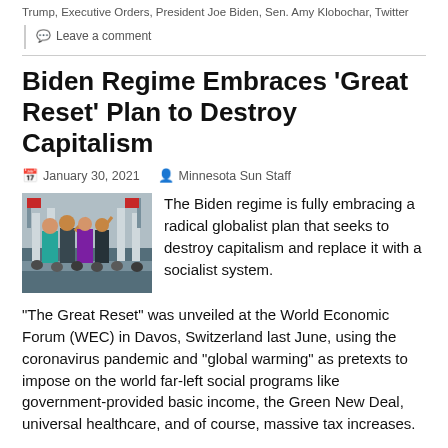Trump, Executive Orders, President Joe Biden, Sen. Amy Klobochar, Twitter
Leave a comment
Biden Regime Embraces ‘Great Reset’ Plan to Destroy Capitalism
January 30, 2021   Minnesota Sun Staff
[Figure (photo): Photo of people at inauguration ceremony waving, with crowd in background]
The Biden regime is fully embracing a radical globalist plan that seeks to destroy capitalism and replace it with a socialist system.
“The Great Reset” was unveiled at the World Economic Forum (WEC) in Davos, Switzerland last June, using the coronavirus pandemic and “global warming” as pretexts to impose on the world far-left social programs like government-provided basic income, the Green New Deal, universal healthcare, and of course, massive tax increases.
READ MORE